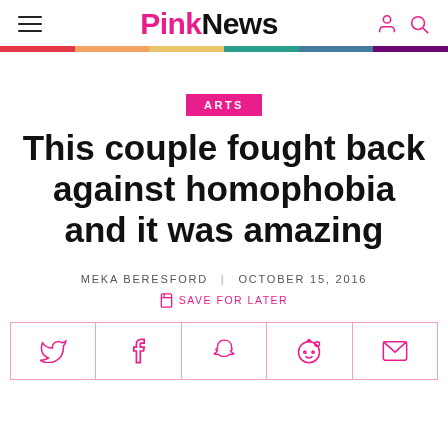PinkNews
ARTS
This couple fought back against homophobia and it was amazing
MEKA BERESFORD | OCTOBER 15, 2016
SAVE FOR LATER
[Figure (other): Social sharing bar with Twitter, Facebook, Snapchat, Reddit, and Email icons in pink outline style]